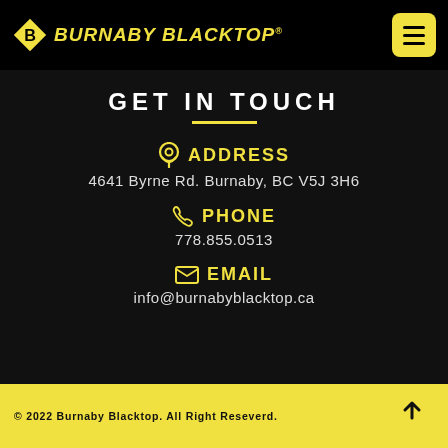[Figure (logo): Burnaby Blacktop logo with yellow diamond B icon and yellow italic bold text]
GET IN TOUCH
ADDRESS
4641 Byrne Rd. Burnaby, BC V5J 3H6
PHONE
778.855.0513
EMAIL
info@burnabyblacktop.ca
© 2022 Burnaby Blacktop. All Right Reseverd.